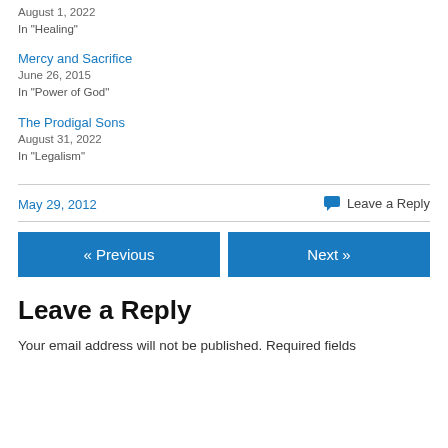August 1, 2022
In "Healing"
Mercy and Sacrifice
June 26, 2015
In "Power of God"
The Prodigal Sons
August 31, 2022
In "Legalism"
May 29, 2012
Leave a Reply
« Previous
Next »
Leave a Reply
Your email address will not be published. Required fields